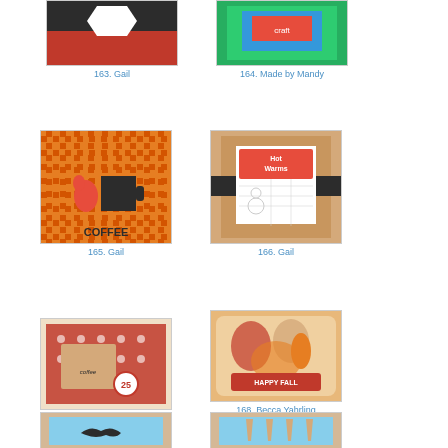[Figure (photo): Craft card #163 by Gail - red and black design with banner]
163. Gail
[Figure (photo): Craft card #164 Made by Mandy - colorful design on green background]
164. Made by Mandy
[Figure (photo): Craft card #165 by Gail - orange gingham with coffee mug and COFFEE text]
165. Gail
[Figure (photo): Craft card #166 by Gail - Hot Warms card with snowman on burlap]
166. Gail
[Figure (photo): Craft card #167 by Esther - red polka dot with coffee embellishments and number 25]
167. Esther
[Figure (photo): Craft card #168 by Becca Yahrling - orange decorative card with Happy Fall banner]
168. Becca Yahrling
[Figure (photo): Craft card #169 - mustache card with light blue center panel]
[Figure (photo): Craft card #170 - ties/neckties card with light blue center panel]